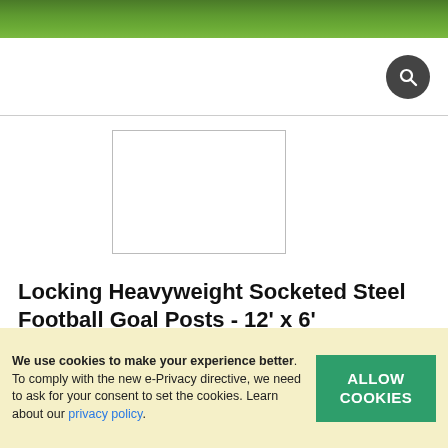[Figure (photo): Green grass background banner at the top of the page]
[Figure (screenshot): Website header with search bar and magnifying glass search icon button]
[Figure (photo): Product image placeholder box (empty white rectangle with border)]
Locking Heavyweight Socketed Steel Football Goal Posts - 12' x 6'
☆ ☆ ☆ ☆ ☆  Write a review  💬 Ask a question
BX/DC 8960/76/L
From: £589.00 Ex VAT
We use cookies to make your experience better. To comply with the new e-Privacy directive, we need to ask for your consent to set the cookies. Learn about our privacy policy.